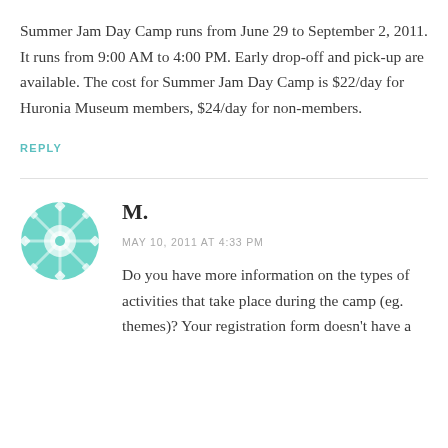Summer Jam Day Camp runs from June 29 to September 2, 2011. It runs from 9:00 AM to 4:00 PM. Early drop-off and pick-up are available. The cost for Summer Jam Day Camp is $22/day for Huronia Museum members, $24/day for non-members.
REPLY
M.
MAY 10, 2011 AT 4:33 PM
Do you have more information on the types of activities that take place during the camp (eg. themes)? Your registration form doesn't have a